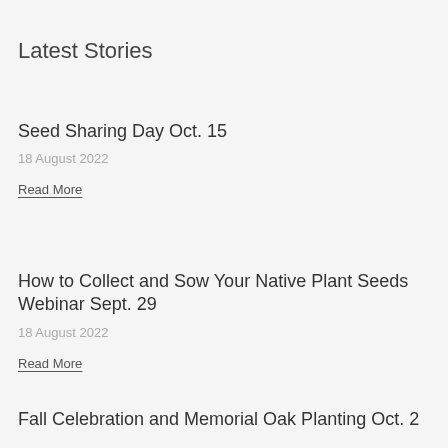Latest Stories
Seed Sharing Day Oct. 15
18 August 2022
Read More
How to Collect and Sow Your Native Plant Seeds Webinar Sept. 29
18 August 2022
Read More
Fall Celebration and Memorial Oak Planting Oct. 2